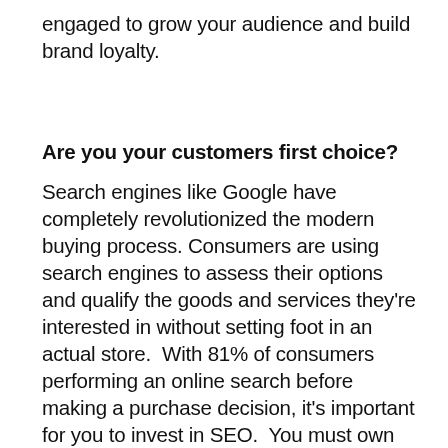engaged to grow your audience and build brand loyalty.
Are you your customers first choice?
Search engines like Google have completely revolutionized the modern buying process. Consumers are using search engines to assess their options and qualify the goods and services they're interested in without setting foot in an actual store.  With 81% of consumers performing an online search before making a purchase decision, it's important for you to invest in SEO.  You must own popular keywords your potential customers are using in their search to ensure they find you before your competitors